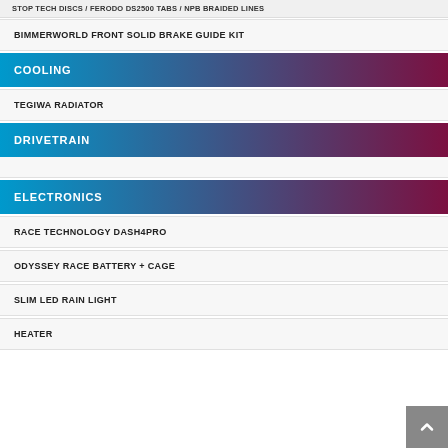STOP TECH DISCS / FERODO DS2500 TABS / NPB BRAIDED LINES
BIMMERWORLD FRONT SOLID BRAKE GUIDE KIT
COOLING
TEGIWA RADIATOR
DRIVETRAIN
ELECTRONICS
RACE TECHNOLOGY DASH4PRO
ODYSSEY RACE BATTERY + CAGE
SLIM LED RAIN LIGHT
HEATER